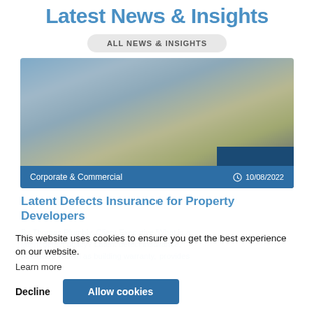Latest News & Insights
ALL NEWS & INSIGHTS
[Figure (photo): Blurred outdoor/building photograph with blue and brown/tan tones. Blue navigation bar at bottom showing 'Corporate & Commercial' category and date '10/08/2022'.]
Latent Defects Insurance for Property Developers
By Thomas Plumbly, Client Executive What is a latent defect policy? Latent defect insurance, otherwise known as building warranty, provides
This website uses cookies to ensure you get the best experience on our website.
Learn more
Decline
Allow cookies